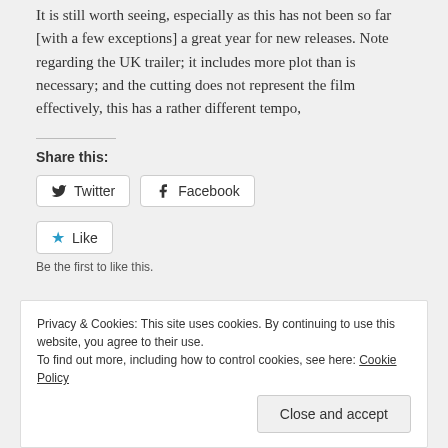It is still worth seeing, especially as this has not been so far [with a few exceptions] a great year for new releases. Note regarding the UK trailer; it includes more plot than is necessary; and the cutting does not represent the film effectively, this has a rather different tempo,
Share this:
[Figure (other): Social share buttons: Twitter and Facebook]
[Figure (other): Like button with star icon]
Be the first to like this.
Privacy & Cookies: This site uses cookies. By continuing to use this website, you agree to their use. To find out more, including how to control cookies, see here: Cookie Policy
Close and accept